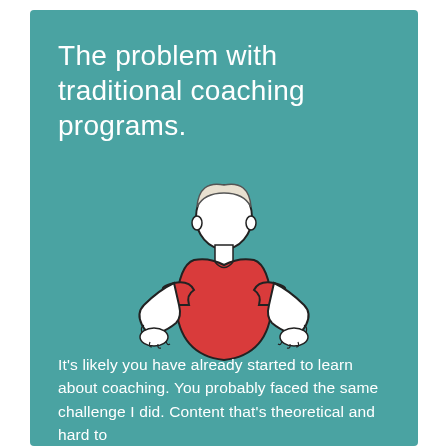The problem with traditional coaching programs.
[Figure (illustration): Line illustration of a person wearing a red shirt with arms out in a shrugging gesture, white/blank face, shown from waist up against teal background.]
It's likely you have already started to learn about coaching. You probably faced the same challenge I did. Content that's theoretical and hard to